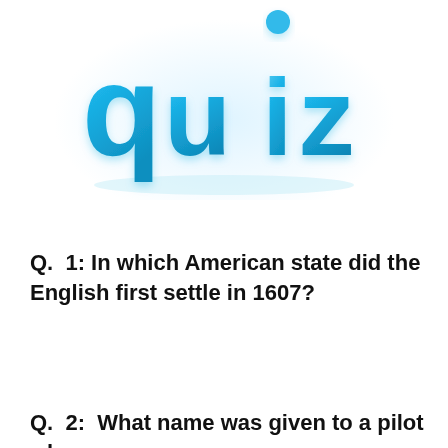[Figure (illustration): 3D blue glossy text spelling 'quiz' with bubbly rounded letters on a light background with subtle shadow/reflection]
Q.  1: In which American state did the English first settle in 1607?
Q.  2:  What name was given to a pilot who